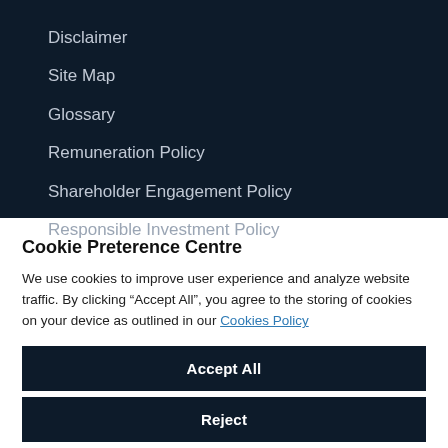Disclaimer
Site Map
Glossary
Remuneration Policy
Shareholder Engagement Policy
Responsible Investment Policy
Cookie Preterence Centre
We use cookies to improve user experience and analyze website traffic. By clicking “Accept All”, you agree to the storing of cookies on your device as outlined in our Cookies Policy
Accept All
Reject
Cookies Settings